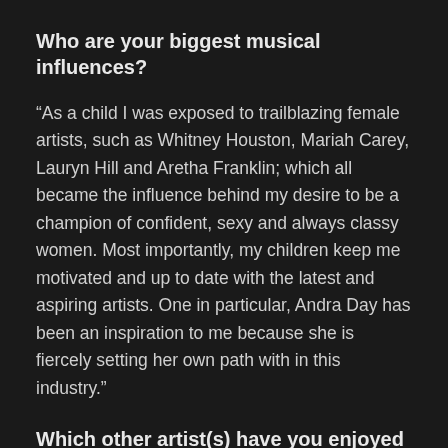Who are your biggest musical influences?
“As a child I was exposed to trailblazing female artists, such as Whitney Houston, Mariah Carey, Lauryn Hill and Aretha Franklin; which all became the influence behind my desire to be a champion of confident, sexy and always classy women. Most importantly, my children keep me motivated and up to date with the latest and aspiring artists. One in particular, Andra Day has been an inspiration to me because she is fiercely setting her own path with in this industry.”
Which other artist(s) have you enjoyed working with the most so far?